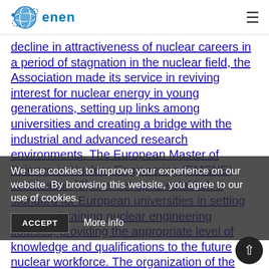enen
decline in attractiveness of nuclear careers in a period of stagnation in the nuclear field, the Association made its service in reviving interest for nuclear energy in young generations, setting up links among universities and creating a bridge with the industrial and advanced research environments. The European Master of Science in Nuclear Engineering (EMSNE) certification [3] was set up to establish a standard for European universities in setting up or maintaining nuclear engineering courses, providing the appropriate level of knowledge and qualifications to the future nuclear workforce. The organization of the EMSNE certification ceremonies [3], held at major conferences, provided the opportunity to hundreds of students up to the present time to assess the level of their education.
We use cookies to improve your experience on our website. By browsing this website, you agree to our use of cookies.